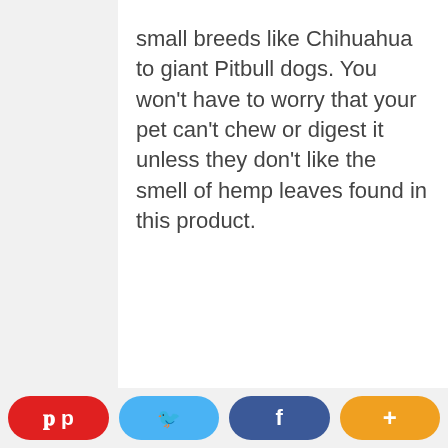small breeds like Chihuahua to giant Pitbull dogs. You won't have to worry that your pet can't chew or digest it unless they don't like the smell of hemp leaves found in this product.
[Figure (screenshot): Social share bar at bottom with four buttons: Pinterest (red), Twitter (blue), Facebook (dark blue), and a plus/more button (orange)]